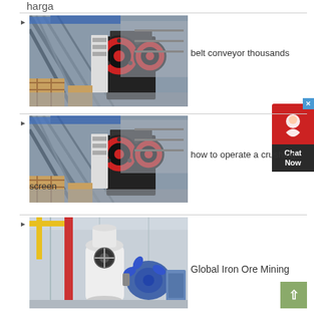harga
[Figure (photo): Industrial jaw crusher machine in a factory setting with red flywheel, black body, displayed in a warehouse]
belt conveyor thousands
[Figure (photo): Industrial jaw crusher machine in a factory setting with red flywheel, black body, displayed in a warehouse]
how to operate a crushing screen
[Figure (photo): Industrial grinding mill machine in a factory, white cylindrical body with blue fan/blower attachment]
Global Iron Ore Mining